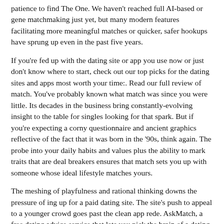patience to find The One. We haven't reached full AI-based or gene matchmaking just yet, but many modern features facilitating more meaningful matches or quicker, safer hookups have sprung up even in the past five years.
If you're fed up with the dating site or app you use now or just don't know where to start, check out our top picks for the dating sites and apps most worth your time:. Read our full review of match. You've probably known what match was since you were little. Its decades in the business bring constantly-evolving insight to the table for singles looking for that spark. But if you're expecting a corny questionnaire and ancient graphics reflective of the fact that it was born in the '90s, think again. The probe into your daily habits and values plus the ability to mark traits that are deal breakers ensures that match sets you up with someone whose ideal lifestyle matches yours.
The meshing of playfulness and rational thinking downs the pressure of ing up for a paid dating site. The site's push to appeal to a younger crowd goes past the clean app rede. AskMatch, a free dating advice service that lets you pick the brain of a dating coach, makes constant appearances in reviews on the App Store. In , match launched Vibe Check, a social distancing-era video call feature that aims to give new matches the closest thing possible to a first date. This is also a smart way to ensure that the person on the other end is, ite...